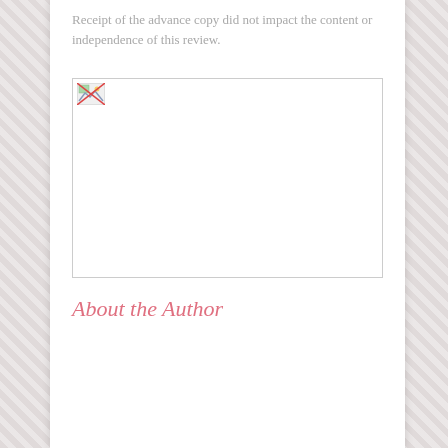Receipt of the advance copy did not impact the content or independence of this review.
[Figure (photo): Broken/missing image placeholder with small image icon in top-left corner]
About the Author